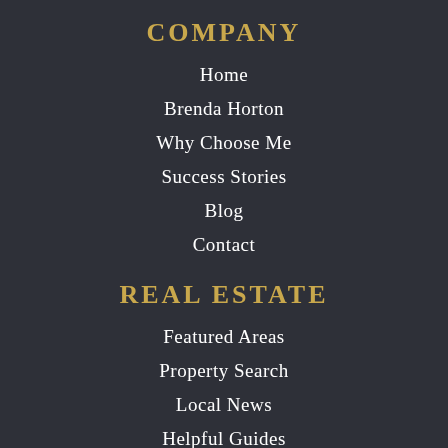COMPANY
Home
Brenda Horton
Why Choose Me
Success Stories
Blog
Contact
REAL ESTATE
Featured Areas
Property Search
Local News
Helpful Guides